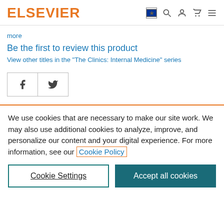ELSEVIER
more
Be the first to review this product
View other titles in the "The Clinics: Internal Medicine" series
[Figure (other): Social share buttons: Facebook (f) and Twitter (bird) icons in a bordered box]
We use cookies that are necessary to make our site work. We may also use additional cookies to analyze, improve, and personalize our content and your digital experience. For more information, see our Cookie Policy
Cookie Settings
Accept all cookies